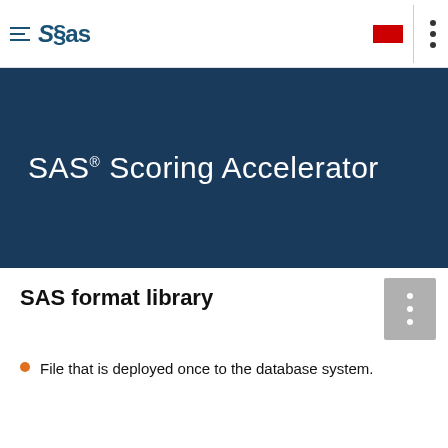SAS (logo) | navigation header
SAS® Scoring Accelerator
SAS format library
File that is deployed once to the database system.